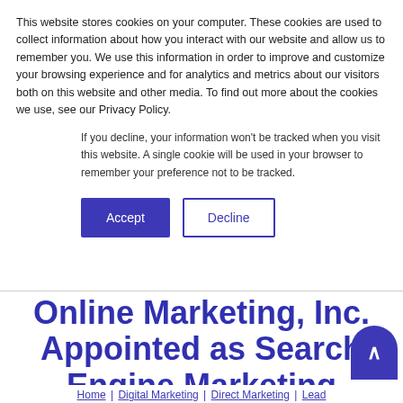This website stores cookies on your computer. These cookies are used to collect information about how you interact with our website and allow us to remember you. We use this information in order to improve and customize your browsing experience and for analytics and metrics about our visitors both on this website and other media. To find out more about the cookies we use, see our Privacy Policy.
If you decline, your information won’t be tracked when you visit this website. A single cookie will be used in your browser to remember your preference not to be tracked.
Accept | Decline
Online Marketing, Inc. Appointed as Search Engine Marketing Consulting Agency for First Northern Bank
Home | Digital Marketing | Direct Marketing | Lead